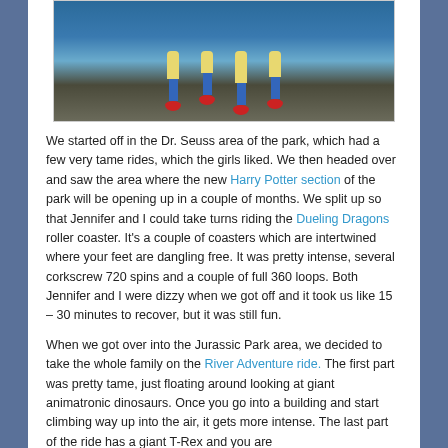[Figure (photo): Cartoon character legs dangling, wearing blue pants and red shoes, against a blue and gray background — appears to be from a theme park ride or animated scene.]
We started off in the Dr. Seuss area of the park, which had a few very tame rides, which the girls liked. We then headed over and saw the area where the new Harry Potter section of the park will be opening up in a couple of months. We split up so that Jennifer and I could take turns riding the Dueling Dragons roller coaster. It's a couple of coasters which are intertwined where your feet are dangling free. It was pretty intense, several corkscrew 720 spins and a couple of full 360 loops. Both Jennifer and I were dizzy when we got off and it took us like 15 – 30 minutes to recover, but it was still fun.
When we got over into the Jurassic Park area, we decided to take the whole family on the River Adventure ride. The first part was pretty tame, just floating around looking at giant animatronic dinosaurs. Once you go into a building and start climbing way up into the air, it gets more intense. The last part of the ride has a giant T-Rex and you are